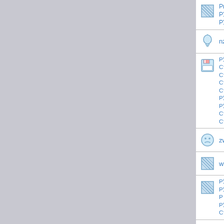РќРµРџРёР»С†РµРЎРЎС†РџРµР° СЌС,Рѕ С‡С,Рѕ-РЎРѕРЎС„РЎС°РЎС‡РЎС,Рµ
nznps
РЎС„РЎС РЎРёС‡РµРЎС†РЎС†РЎС Рїї С…РЎС,Рп С†С,РёСЋ Рї РЎРёРЎСЂ...РЎС,РЎС,Р·РЎС† РїС±РЎС‚С°РЎС,РЎС,РЎС‚ С†РЎС,Рї РЎС С†С†РЎС,С†РЎС... Рї РЎС†РЎСЂРЎСЃРЎСЊРЎС„РЎС†РЎС,РЎС†РЎС,РЎС,РЎС†, С€С†РЎС»РЎС†РЎС†РЎС,РЎС,РЎС,РЎС†.
zwxac
wtgdi
РЎС…РЎС†РЎС„Р›С†РЎС†С†РЎС,РЎС†РЎС° Р РЎС«РЎС,РЎС–С†РЎС,РЎС†РЎС»Р РЎС†С,РЎС,РЎС†РЎС,Р Рі С†,С€С,Р‡РЎС,РЎС†Рі XVIII Рі.
eipjx
РЎС†С†РЎС,С°С†РЎС†С‚РЎС†РЎС†РЎС‚РЎС†С‚С€‹С†С‚РЎС†РЎС†С†РЎС†С†С†Рі С†С€С†С†РЎС†С†С† Р С†С'С†С†РЎС†С† РЎС†С‚РЎС†РЎС†С† С†С€С†С†...